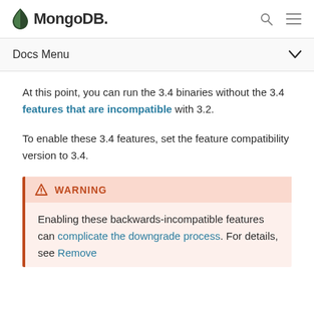MongoDB
Docs Menu
At this point, you can run the 3.4 binaries without the 3.4 features that are incompatible with 3.2.
To enable these 3.4 features, set the feature compatibility version to 3.4.
WARNING
Enabling these backwards-incompatible features can complicate the downgrade process. For details, see Remove